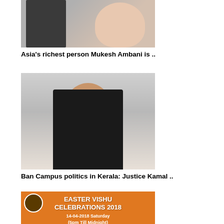[Figure (photo): Cropped photo of a couple, man in suit with red tie on left, woman in pink sari on right]
Asia's richest person Mukesh Ambani is ..
[Figure (photo): Man with glasses in dark suit pointing a finger, speaking on stage against a grey curtain backdrop]
Ban Campus politics in Kerala: Justice Kamal ..
[Figure (photo): Easter Vishu Celebrations 2018 orange promotional banner showing date 14-04-2018 Saturday (5pm Till Midnight) at Whiston Town Hall, with Malayalam text, Jesus figure on left and Krishna figure on right]